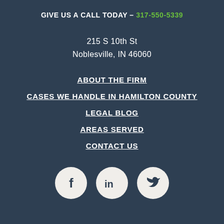GIVE US A CALL TODAY – 317-550-5339
215 S 10th St
Noblesville, IN 46060
ABOUT THE FIRM
CASES WE HANDLE IN HAMILTON COUNTY
LEGAL BLOG
AREAS SERVED
CONTACT US
[Figure (illustration): Three social media icons in white circles on dark background: Facebook (f), LinkedIn (in), Twitter (bird)]